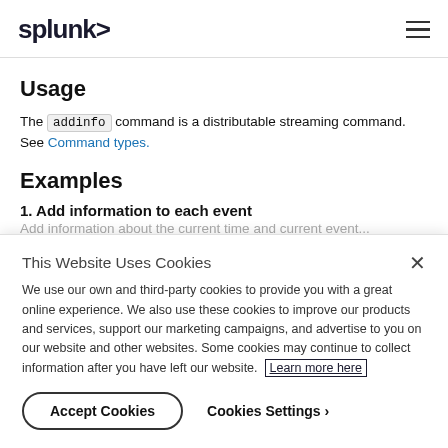splunk>
Usage
The addinfo command is a distributable streaming command. See Command types.
Examples
1. Add information to each event
Add information about the current time and current event...
This Website Uses Cookies
We use our own and third-party cookies to provide you with a great online experience. We also use these cookies to improve our products and services, support our marketing campaigns, and advertise to you on our website and other websites. Some cookies may continue to collect information after you have left our website. Learn more here
Accept Cookies   Cookies Settings >